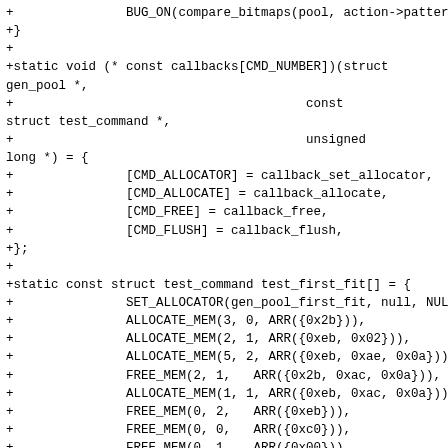+		BUG_ON(compare_bitmaps(pool, action->pattern));
+}
+
+static void (* const callbacks[CMD_NUMBER])(struct gen_pool *,
+										const struct test_command *,
+										unsigned long *) = {
+		[CMD_ALLOCATOR] = callback_set_allocator,
+		[CMD_ALLOCATE] = callback_allocate,
+		[CMD_FREE] = callback_free,
+		[CMD_FLUSH] = callback_flush,
+};
+
+static const struct test_command test_first_fit[] = {
+		SET_ALLOCATOR(gen_pool_first_fit, null, NULL),
+		ALLOCATE_MEM(3, 0, ARR({0x2b})),
+		ALLOCATE_MEM(2, 1, ARR({0xeb, 0x02})),
+		ALLOCATE_MEM(5, 2, ARR({0xeb, 0xae, 0x0a})),
+		FREE_MEM(2, 1,   ARR({0x2b, 0xac, 0x0a})),
+		ALLOCATE_MEM(1, 1, ARR({0xeb, 0xac, 0x0a})),
+		FREE_MEM(0, 2,   ARR({0xeb})),
+		FREE_MEM(0, 0,   ARR({0xc0})),
+		FREE_MEM(0, 1,   ARR({0x00})),
+		END(),
+};
+
+/*
+ * To make the test work for both 32bit and 64bit ulong sizes.